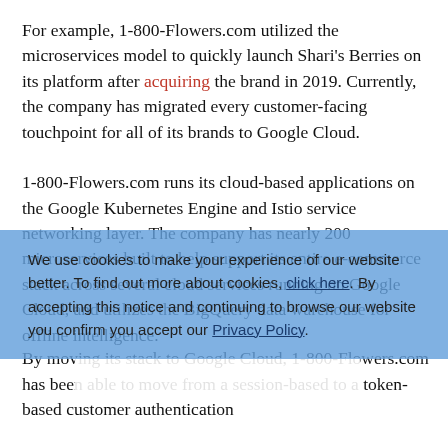For example, 1-800-Flowers.com utilized the microservices model to quickly launch Shari's Berries on its platform after acquiring the brand in 2019. Currently, the company has migrated every customer-facing touchpoint for all of its brands to Google Cloud.
1-800-Flowers.com runs its cloud-based applications on the Google Kubernetes Engine and Istio service networking layer. The company has nearly 200 microservices built to help support its entire e-commerce stack across several cloud services running on Google Cloud, and utilizes the BigQuery data warehouse for offline intelligence.
We use cookies to make your experience of our website better. To find out more about cookies, click here. By accepting this notice and continuing to browse our website you confirm you accept our Privacy Policy
By moving its stack to Google Cloud, 1-800-Flowers.com has been able to move from a session-based to a token-based customer authentication